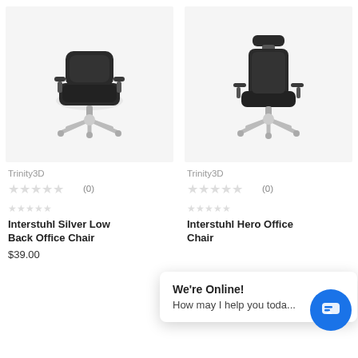[Figure (photo): Interstuhl Silver Low Back Office Chair product photo, black chair with silver/aluminum base on white background]
Trinity3D
☆☆☆☆☆ (0)
☆☆☆☆☆
Interstuhl Silver Low Back Office Chair
$39.00
[Figure (photo): Interstuhl Hero Office Chair product photo, tall black chair with headrest and silver base on white background]
Trinity3D
☆☆☆☆☆ (0)
☆☆☆☆☆
Interstuhl Hero Office Chair
We're Online! How may I help you toda...